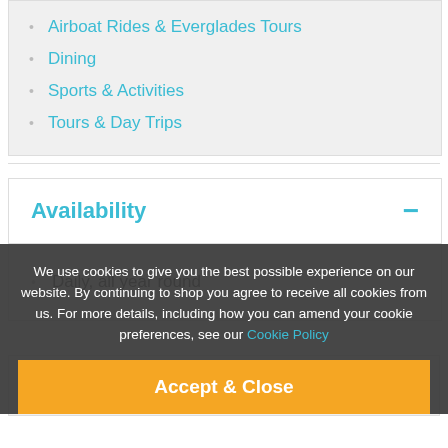Airboat Rides & Everglades Tours
Dining
Sports & Activities
Tours & Day Trips
Availability
Daily, all year round
Transport
We use cookies to give you the best possible experience on our website. By continuing to shop you agree to receive all cookies from us. For more details, including how you can amend your cookie preferences, see our Cookie Policy
Accept & Close